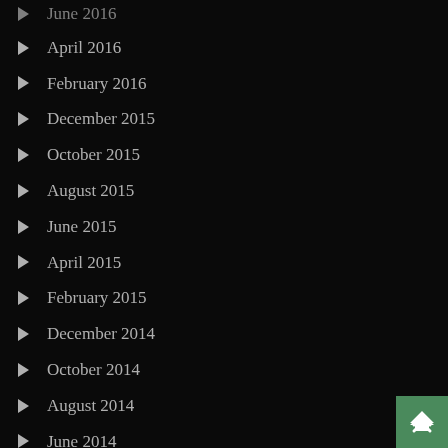April 2016
February 2016
December 2015
October 2015
August 2015
June 2015
April 2015
February 2015
December 2014
October 2014
August 2014
June 2014